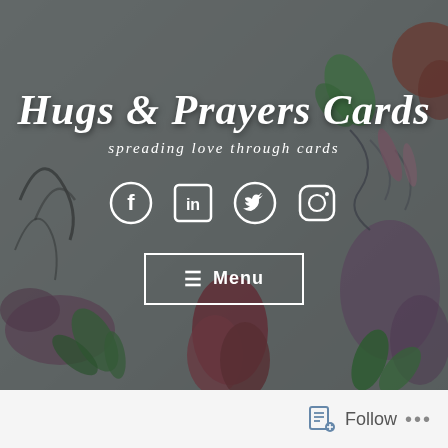[Figure (illustration): Website header/hero section with floral watercolor background showing flowers and leaves in muted colors overlaid with a dark semi-transparent layer]
Hugs & Prayers Cards
spreading love through cards
[Figure (infographic): Social media icons row: Facebook, LinkedIn, Twitter, Instagram - all white on transparent background]
≡ Menu
Follow ...